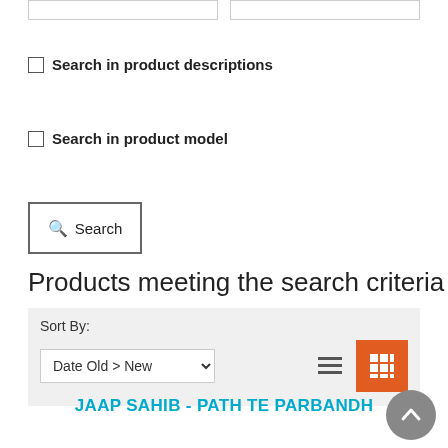Search in product descriptions
Search in product model
Search
Products meeting the search criteria
Sort By: Date Old > New
JAAP SAHIB - PATH TE PARBANDH